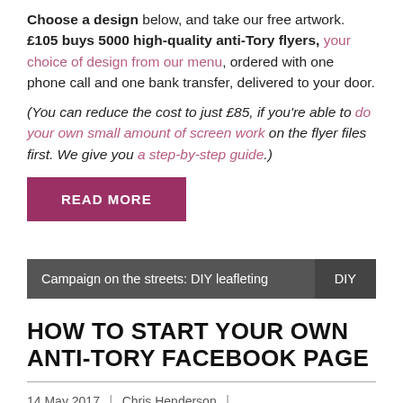Choose a design below, and take our free artwork. £105 buys 5000 high-quality anti-Tory flyers, your choice of design from our menu, ordered with one phone call and one bank transfer, delivered to your door.
(You can reduce the cost to just £85, if you're able to do your own small amount of screen work on the flyer files first. We give you a step-by-step guide.)
READ MORE
Campaign on the streets: DIY leafleting | DIY
HOW TO START YOUR OWN ANTI-TORY FACEBOOK PAGE
14 May 2017 | Chris Henderson |